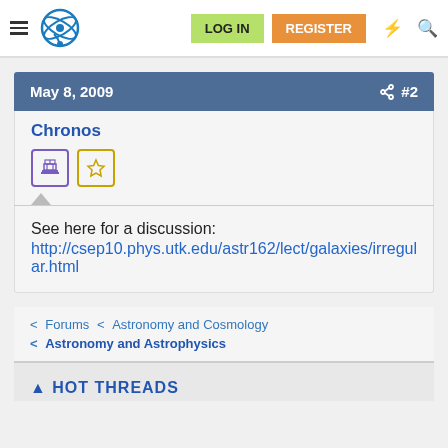Navigation bar with logo, LOG IN, REGISTER buttons
May 8, 2009   #2
Chronos
See here for a discussion:
http://csep10.phys.utk.edu/astr162/lect/galaxies/irregular.html
Forums < Astronomy and Cosmology
< Astronomy and Astrophysics
HOT THREADS